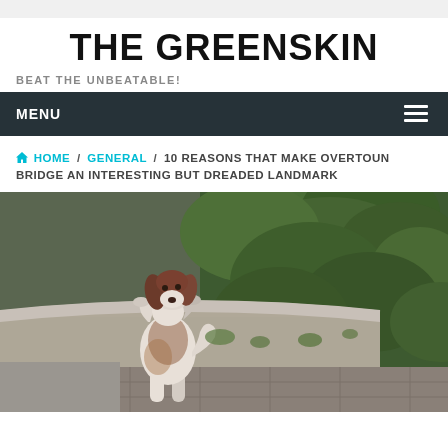THE GREENSKIN
BEAT THE UNBEATABLE!
MENU
HOME / GENERAL / 10 REASONS THAT MAKE OVERTOUN BRIDGE AN INTERESTING BUT DREADED LANDMARK
[Figure (photo): A black and white springer spaniel dog with paws up on a stone bridge wall, looking up, with green foliage in the background.]